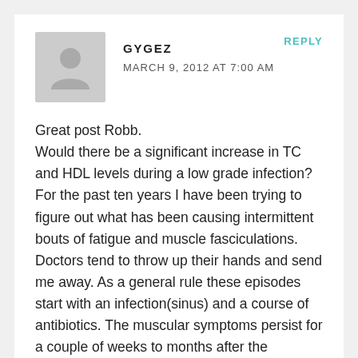[Figure (illustration): Gray avatar silhouette icon of a person on a light gray square background]
GYGEZ
MARCH 9, 2012 AT 7:00 AM
REPLY
Great post Robb.
Would there be a significant increase in TC and HDL levels during a low grade infection? For the past ten years I have been trying to figure out what has been causing intermittent bouts of fatigue and muscle fasciculations. Doctors tend to throw up their hands and send me away. As a general rule these episodes start with an infection(sinus) and a course of antibiotics. The muscular symptoms persist for a couple of weeks to months after the infection symptoms are gone. Lately I